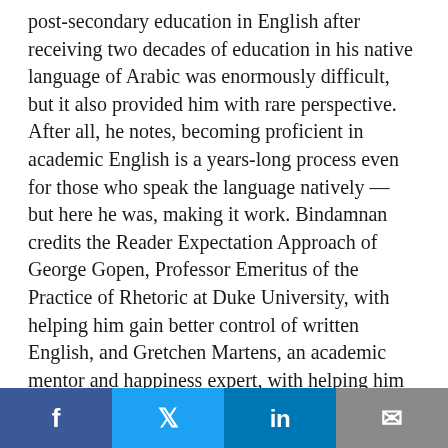post-secondary education in English after receiving two decades of education in his native language of Arabic was enormously difficult, but it also provided him with rare perspective. After all, he notes, becoming proficient in academic English is a years-long process even for those who speak the language natively — but here he was, making it work. Bindamnan credits the Reader Expectation Approach of George Gopen, Professor Emeritus of the Practice of Rhetoric at Duke University, with helping him gain better control of written English, and Gretchen Martens, an academic mentor and happiness expert, with helping him through academic mentorship and editorial support.
Bindamnan received his Master of Science in Education (MSEd) in International Educational
Facebook | Twitter | LinkedIn | Email